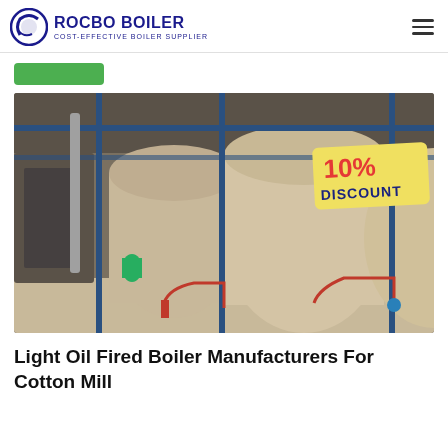ROCBO BOILER – COST-EFFECTIVE BOILER SUPPLIER
[Figure (photo): Industrial light oil fired boilers (horizontal cylindrical vessels in tan/beige color) installed in a facility, with blue steel framing, red and blue pipework, and a '10% DISCOUNT' badge overlaid on the upper right of the image.]
Light Oil Fired Boiler Manufacturers For Cotton Mill